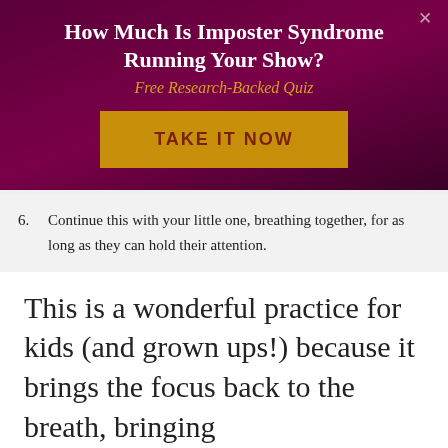How Much Is Imposter Syndrome Running Your Show?
Free Research-Backed Quiz
TAKE IT NOW
6. Continue this with your little one, breathing together, for as long as they can hold their attention.
This is a wonderful practice for kids (and grown ups!) because it brings the focus back to the breath, bringing